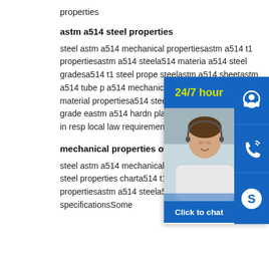properties
astm a514 steel properties
steel astm a514 mechanical propertiesastm a514 t1 propertiesastm a514 steela514 material a514 steel gradesa514 t1 steel properties steelastm a514 sheetastm a514 tube a514 mechanical propertiesastm a514 material propertiesa514 steel properties pdfastm a514 grade eastm a514 hardness plateSome results are removed in response to a local law requirement.For more information here.
mechanical properties of a514 steel
steel astm a514 mechanical propertiesa514 steel propertiesa514 steel properties charta514 t1 steel propertiesastm a514 t1 propertiesastm a514 steela514 steel machinabilitya514 grade steel specificationsSome
[Figure (infographic): Customer service widget overlay with '24/7 hour' text in yellow on blue background, a photo of a smiling customer service agent, phone icon, Skype icon, and 'Click to chat' button]